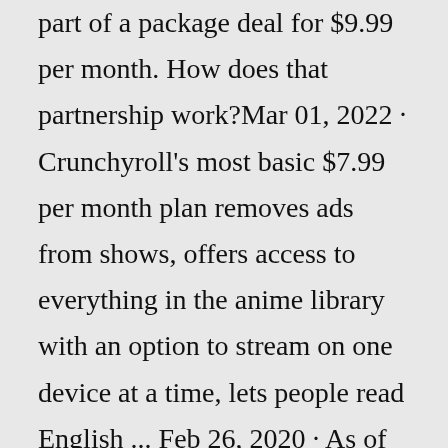part of a package deal for $9.99 per month. How does that partnership work?Mar 01, 2022 · Crunchyroll's most basic $7.99 per month plan removes ads from shows, offers access to everything in the anime library with an option to stream on one device at a time, lets people read English ... Feb 26, 2020 · As of May 2019, Crunchyroll has nearly 50 million registered users, with 2 million paid subscribers. Crunchyroll is